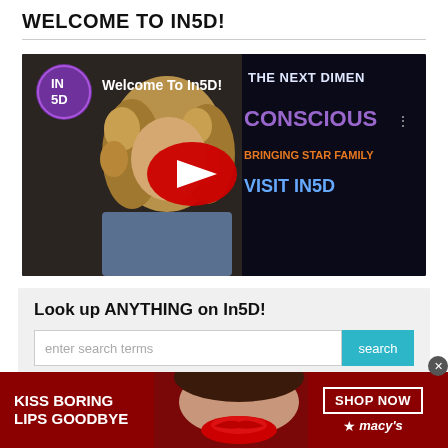WELCOME TO IN5D!
[Figure (screenshot): YouTube video thumbnail for 'Welcome To In5D!' showing a person with curly blonde hair, a red YouTube play button overlay, and text reading 'THE NEXT DIMENSION', 'CONSCIOUS', 'BRINGING STAR FAMILY', 'VISIT IN5D' on the right side. The In5D logo is shown in the top-left corner.]
Look up ANYTHING on In5D!
enter search terms
[Figure (infographic): Macy's advertisement banner with red background, text 'KISS BORING LIPS GOODBYE', image of a woman with red lips, 'SHOP NOW' button, and Macy's star logo.]